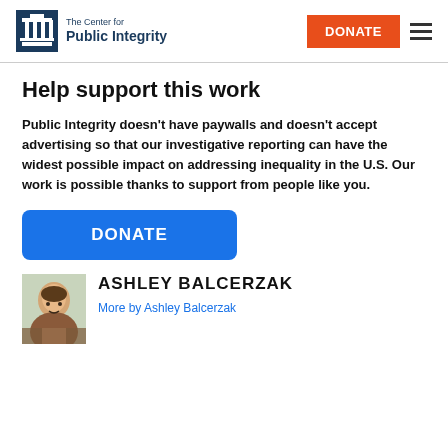The Center for Public Integrity | DONATE
Help support this work
Public Integrity doesn't have paywalls and doesn't accept advertising so that our investigative reporting can have the widest possible impact on addressing inequality in the U.S. Our work is possible thanks to support from people like you.
[Figure (other): Blue DONATE button]
[Figure (photo): Headshot photo of Ashley Balcerzak]
ASHLEY BALCERZAK
More by Ashley Balcerzak